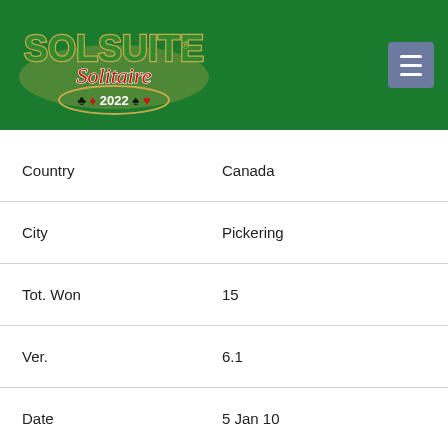[Figure (logo): SolSuite Solitaire 2022 logo on dark green background with card suit symbols]
| Field | Value |
| --- | --- |
| Country | Canada |
| City | Pickering |
| Tot. Won | 15 |
| Ver. | 6.1 |
| Date | 5 Jan 10 |
| N. | 19 |